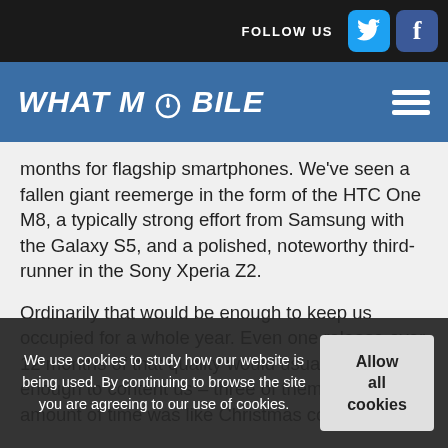FOLLOW US
WHAT MOBILE
months for flagship smartphones. We've seen a fallen giant reemerge in the form of the HTC One M8, a typically strong effort from Samsung with the Galaxy S5, and a polished, noteworthy third-runner in the Sony Xperia Z2.
Ordinarily that would be enough to keep us occupied for a whole year. Even one release over 12 months of that quality would usually be enough to content us – three of them in half the amount of time was like Christmas come early.
We use cookies to study how our website is being used. By continuing to browse the site you are agreeing to our use of cookies.